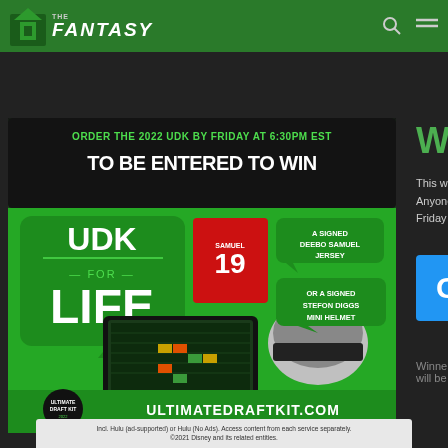THE FANTASY
[Figure (illustration): Promotional advertisement for UDK (Ultimate Draft Kit) 2022. Green background with text 'ORDER THE 2022 UDK BY FRIDAY AT 6:30PM EST TO BE ENTERED TO WIN'. Features 'UDK FOR LIFE' in large white text on green speech bubble, images of a Deebo Samuel #19 jersey and Stefon Diggs mini helmet as prizes, laptop and tablet with fantasy football interface, Ultimate Draft Kit logo, and ULTIMATEDRAFTKIT.COM URL.]
Win a
This week onl Anyone that b Friday is eligi
Get th
Winners will be
Incl. Hulu (ad-supported) or Hulu (No Ads). Access content from each service separately. ©2021 Disney and its related entities.